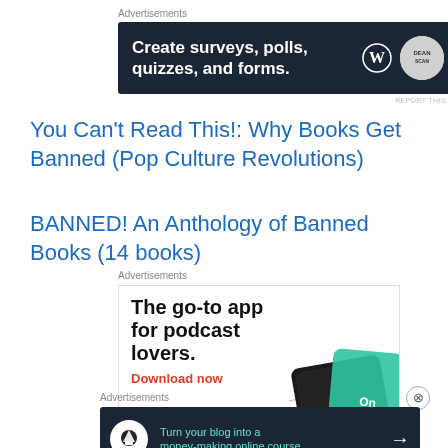Advertisements
[Figure (screenshot): Advertisement banner: dark navy background with text 'Create surveys, polls, quizzes, and forms.' with WordPress logo and scan badge]
REPORT THIS AD
You Can't Read This!: Why Books Get Banned (Pop Culture Revolutions)
BANNED! An Anthology of Banned Books (14 books)
Advertisements
[Figure (screenshot): Advertisement: 'The go-to app for podcast lovers. Download now' with phone/card image on white background]
Advertisements
[Figure (screenshot): Advertisement banner: dark navy background with 'Turn your blog into a money-making online course.' with arrow]